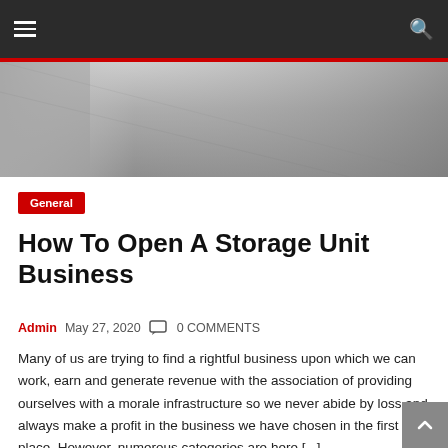☰  🔍
[Figure (photo): Close-up photo of a grey concrete or pavement surface with subtle shadows and texture.]
General
How To Open A Storage Unit Business
Admin  May 27, 2020  💬  0 COMMENTS
Many of us are trying to find a rightful business upon which we can work, earn and generate revenue with the association of providing ourselves with a morale infrastructure so we never abide by loss and always make a profit in the business we have chosen in the first place. However, numerous categories are here [...]